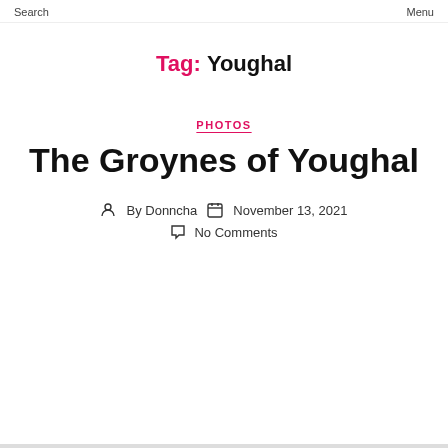Search   Menu
Tag: Youghal
PHOTOS
The Groynes of Youghal
By Donncha   November 13, 2021   No Comments